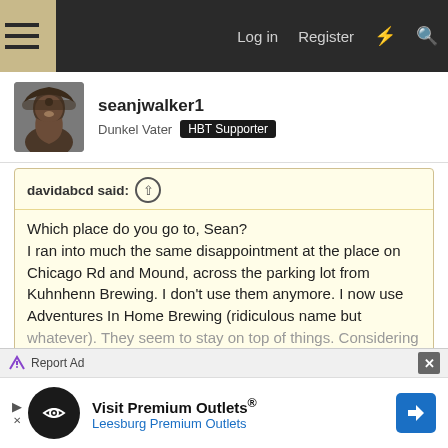Log in  Register
seanjwalker1
Dunkel Vater  HBT Supporter
davidabcd said: ↑
Which place do you go to, Sean?
I ran into much the same disappointment at the place on Chicago Rd and Mound, across the parking lot from Kuhnhenn Brewing. I don't use them anymore. I now use Adventures In Home Brewing (ridiculous name but whatever). They seem to stay on top of things. Considering where you live, they're a little far but they do online
Click to expand...
Yeah AHB would be about an hour drive. I have ordered some things from them before. I should use them more...
Report Ad  Visit Premium Outlets® Leesburg Premium Outlets